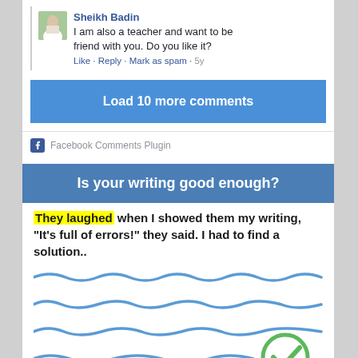Sheikh Badin
I am also a teacher and want to be friend with you. Do you like it?
Like · Reply · Mark as spam · 5y
Load 10 more comments
Facebook Comments Plugin
Is your writing good enough?
They laughed when I showed them my writing, "It's full of errors!" they said. I had to find a solution..
[Figure (illustration): Wavy blue handwritten lines representing text with a green checkmark circle in the bottom right corner]